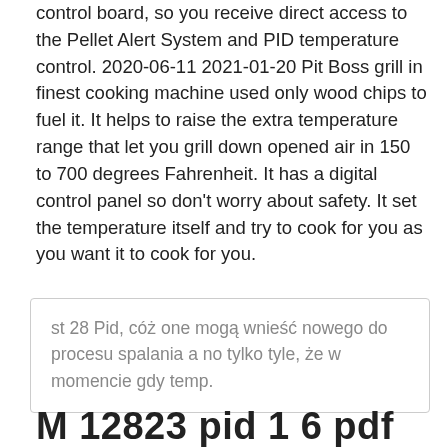control board, so you receive direct access to the Pellet Alert System and PID temperature control. 2020-06-11 2021-01-20 Pit Boss grill in finest cooking machine used only wood chips to fuel it. It helps to raise the extra temperature range that let you grill down opened air in 150 to 700 degrees Fahrenheit. It has a digital control panel so don’t worry about safety. It set the temperature itself and try to cook for you as you want it to cook for you.
st 28 Pid, cóż one mogą wnieść nowego do procesu spalania a no tylko tyle, że w momencie gdy temp.
M 12823 pid 1 6 pdf